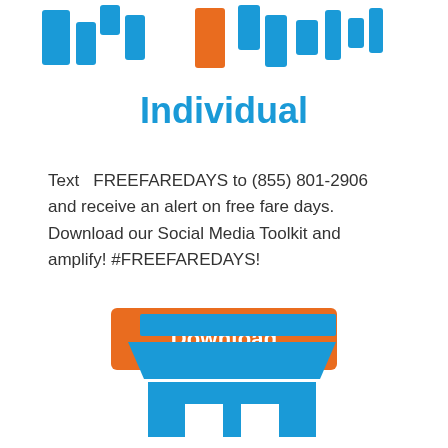[Figure (illustration): Stylized icon of people/individuals using blue and orange colored rectangular shapes at the top of the page]
Individual
Text  FREEFAREDAYS to (855) 801-2906 and receive an alert on free fare days. Download our Social Media Toolkit and amplify! #FREEFAREDAYS!
[Figure (illustration): Orange rounded rectangle Download button]
[Figure (illustration): Blue storefront/business icon at the bottom of the page]